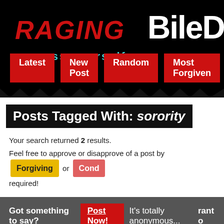[Figure (screenshot): RagingBileDuct website header with logo, tagline 'express yourself', and navigation buttons: Latest, New Post, Random, Most Forgiven, Most Co...]
Posts Tagged With: sorority
Your search returned 2 results. Feel free to approve or disapprove of a post by Forgiving or Condemning it. No registration required!
Got something to say? Post Now! It's totally anonymous... rant o
What are sisters for really?
First off, when I am talking about sisters, I do not mean the biologica... mean the ones that you make a lifelong commitment to, who are sup... there for you no matter what, and are supposed to know you so well...